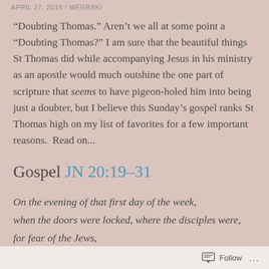APRIL 27, 2019 / MEGBSKI
“Doubting Thomas.” Aren’t we all at some point a “Doubting Thomas?” I am sure that the beautiful things St Thomas did while accompanying Jesus in his ministry as an apostle would much outshine the one part of scripture that seems to have pigeon-holed him into being just a doubter, but I believe this Sunday’s gospel ranks St Thomas high on my list of favorites for a few important reasons.  Read on...
Gospel JN 20:19–31
On the evening of that first day of the week,
when the doors were locked, where the disciples were,
for fear of the Jews,
Follow